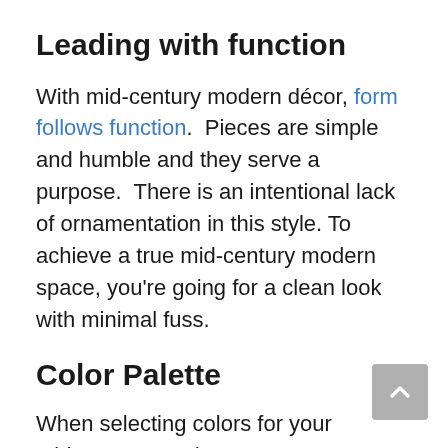Leading with function
With mid-century modern décor, form follows function.  Pieces are simple and humble and they serve a purpose.  There is an intentional lack of ornamentation in this style. To achieve a true mid-century modern space, you're going for a clean look with minimal fuss.
Color Palette
When selecting colors for your mid-century modern room or home, get inspired from the cheerful colors from